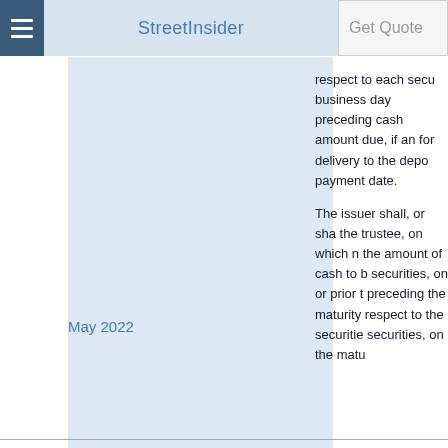StreetInsider
respect to each secu business day preceding cash amount due, if an for delivery to the depo payment date. The issuer shall, or sha the trustee, on which n the amount of cash to b securities, on or prior t preceding the maturity respect to the securitie securities, on the matu
May 2022